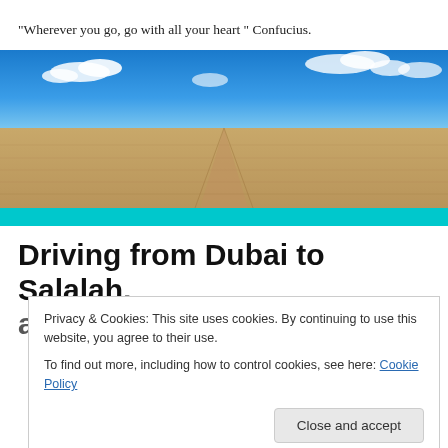"Wherever you go, go with all your heart " Confucius.
[Figure (photo): Wide panoramic desert landscape with sandy flat ground receding to horizon under a vivid blue sky with white clouds; teal/cyan horizontal bar below the image.]
Driving from Dubai to Salalah, a very long journey
Privacy & Cookies: This site uses cookies. By continuing to use this website, you agree to their use.
To find out more, including how to control cookies, see here: Cookie Policy
[Close and accept]